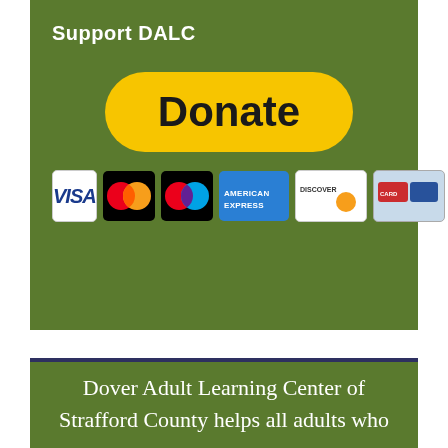Support DALC
[Figure (other): PayPal Donate button (yellow pill-shaped button with 'Donate' text in bold black) followed by a row of payment card logos: VISA, Mastercard, Maestro, American Express, Discover, and one more card logo]
Dover Adult Learning Center of Strafford County helps all adults who